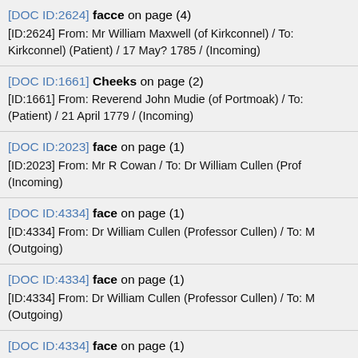[DOC ID:2624] facce on page (4)
[ID:2624] From: Mr William Maxwell (of Kirkconnel) / To: Kirkconnel) (Patient) / 17 May? 1785 / (Incoming)
[DOC ID:1661] Cheeks on page (2)
[ID:1661] From: Reverend John Mudie (of Portmoak) / To: (Patient) / 21 April 1779 / (Incoming)
[DOC ID:2023] face on page (1)
[ID:2023] From: Mr R Cowan / To: Dr William Cullen (Prof (Incoming)
[DOC ID:4334] face on page (1)
[ID:4334] From: Dr William Cullen (Professor Cullen) / To: M (Outgoing)
[DOC ID:4334] face on page (1)
[ID:4334] From: Dr William Cullen (Professor Cullen) / To: M (Outgoing)
[DOC ID:4334] face on page (1)
[ID:4334] From: Dr William Cullen (Professor Cullen) / To: M